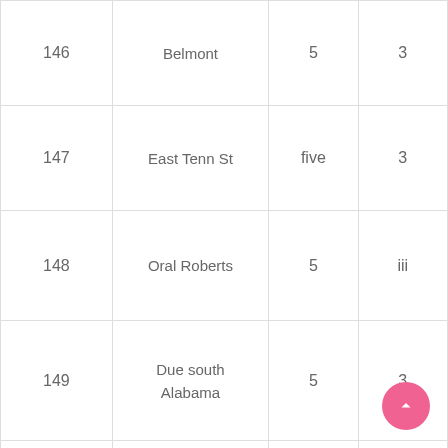| # | Team | Col3 | Col4 |
| --- | --- | --- | --- |
| 146 | Belmont | 5 | 3 |
| 147 | East Tenn St | five | 3 |
| 148 | Oral Roberts | 5 | iii |
| 149 | Due south Alabama | 5 | 3 |
| 150 | [logo] |  |  |